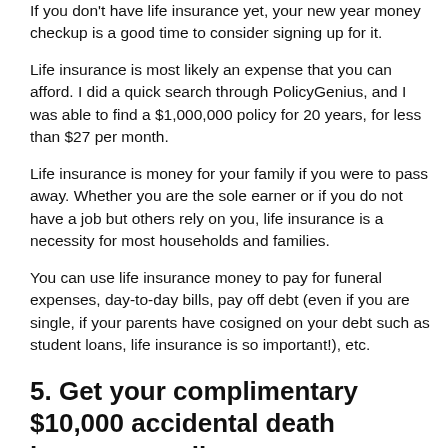If you don't have life insurance yet, your new year money checkup is a good time to consider signing up for it.
Life insurance is most likely an expense that you can afford. I did a quick search through PolicyGenius, and I was able to find a $1,000,000 policy for 20 years, for less than $27 per month.
Life insurance is money for your family if you were to pass away. Whether you are the sole earner or if you do not have a job but others rely on you, life insurance is a necessity for most households and families.
You can use life insurance money to pay for funeral expenses, day-to-day bills, pay off debt (even if you are single, if your parents have cosigned on your debt such as student loans, life insurance is so important!), etc.
5. Get your complimentary $10,000 accidental death insurance policy
My friends at Safety Net have partnered with Making